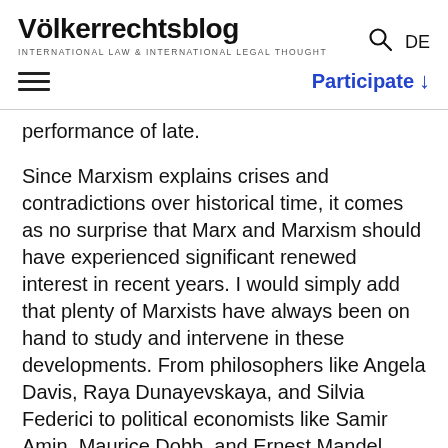Völkerrechtsblog — INTERNATIONAL LAW & INTERNATIONAL LEGAL THOUGHT
performance of late.
Since Marxism explains crises and contradictions over historical time, it comes as no surprise that Marx and Marxism should have experienced significant renewed interest in recent years. I would simply add that plenty of Marxists have always been on hand to study and intervene in these developments. From philosophers like Angela Davis, Raya Dunayevskaya, and Silvia Federici to political economists like Samir Amin, Maurice Dobb, and Ernest Mandel, Marxist critical tools have always been brought to bear on the conditions of capitalist production and exchange that lie at the foundations of the 'liberal world order'. So